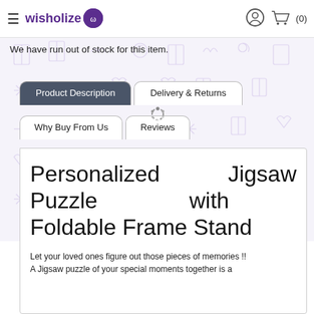wisholize (0)
We have run out of stock for this item.
Product Description | Delivery & Returns
Why Buy From Us | Reviews
Personalized Jigsaw Puzzle with Foldable Frame Stand
Let your loved ones figure out those pieces of memories !!
A Jigsaw puzzle of your special moments together is a